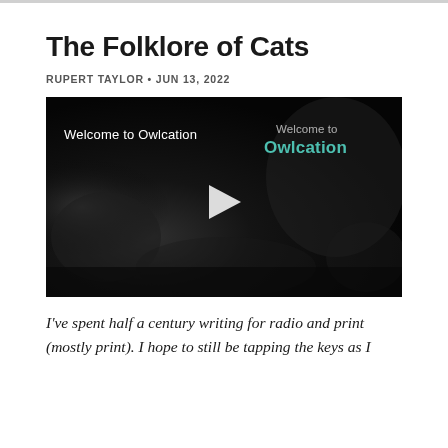The Folklore of Cats
RUPERT TAYLOR • JUN 13, 2022
[Figure (screenshot): Video player thumbnail showing a dark background image of a cat with the text 'Welcome to Owlcation' on the left and 'Welcome to Owlcation' branding on the right, with a play button in the center.]
I've spent half a century writing for radio and print (mostly print). I hope to still be tapping the keys as I